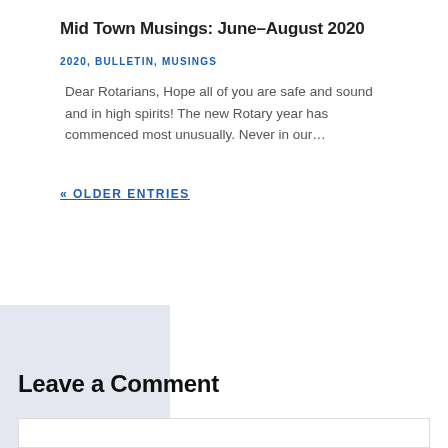Mid Town Musings: June–August 2020
2020, BULLETIN, MUSINGS
Dear Rotarians, Hope all of you are safe and sound and in high spirits! The new Rotary year has commenced most unusually. Never in our…
« OLDER ENTRIES
Leave a Comment